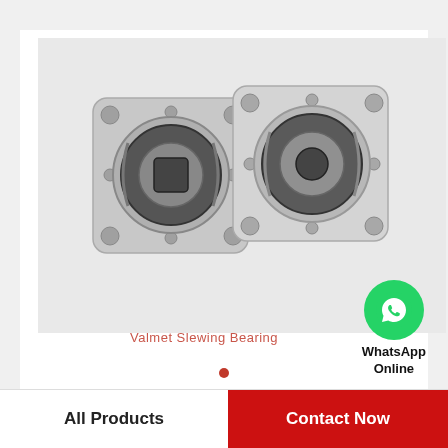[Figure (photo): Two slewing ring bearings with square flanged housings and circular bearing inserts, shown on a light gray background. Watermark text reads 'Valmet Slewing Bearing' in red.]
[Figure (logo): WhatsApp logo in green circle with label 'WhatsApp Online' below]
Excavator Komatsu PC300-6 Slewing Ring, Swing Circle, Slewing Bearing
All Products | Contact Now